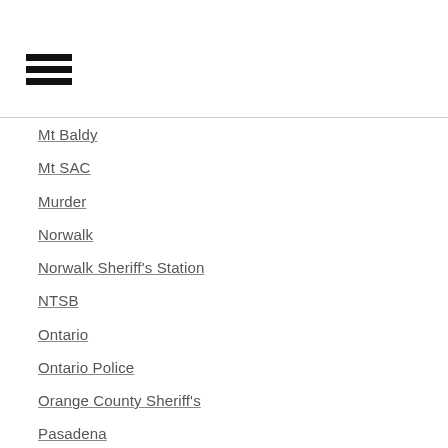[Figure (other): Hamburger menu icon with three horizontal bars]
Mt Baldy
Mt SAC
Murder
Norwalk
Norwalk Sheriff's Station
NTSB
Ontario
Ontario Police
Orange County Sheriff's
Pasadena
Pasadena City College
Pasadena Fire Department
Pasadena Police
Phillip Sanchez
Pico Rivera
Police Pursuit
Police Shooting
Pomona
Pomona Police